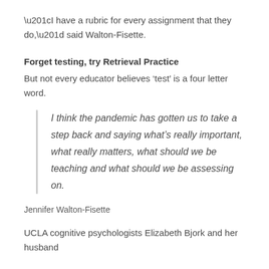“I have a rubric for every assignment that they do,” said Walton-Fisette.
Forget testing, try Retrieval Practice
But not every educator believes ‘test’ is a four letter word.
I think the pandemic has gotten us to take a step back and saying what’s really important, what really matters, what should we be teaching and what should we be assessing on.
Jennifer Walton-Fisette
UCLA cognitive psychologists Elizabeth Bjork and her husband